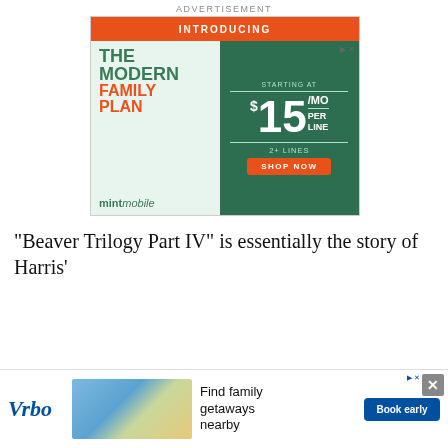ADVERTISEMENT
[Figure (illustration): Mint Mobile advertisement: 'Introducing THE MODERN FAMILY PLAN starting at $15/MO per line, 2+ lines. SHOP NOW.' with Mint Mobile logo and cat mascot.]
“Beaver Trilogy Part IV” is essentially the story of Harris’
[Figure (illustration): Vrbo advertisement showing a beach resort photo with text 'Find family getaways nearby' and 'Book early' button.]